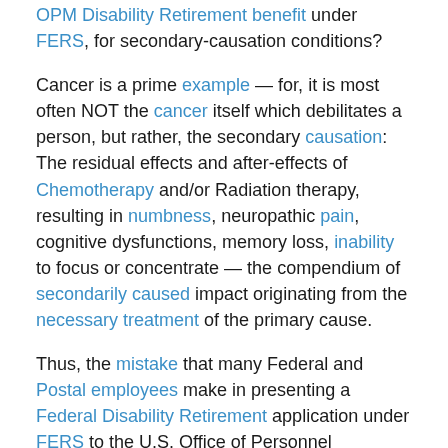OPM Disability Retirement benefit under FERS, for secondary-causation conditions?
Cancer is a prime example — for, it is most often NOT the cancer itself which debilitates a person, but rather, the secondary causation: The residual effects and after-effects of Chemotherapy and/or Radiation therapy, resulting in numbness, neuropathic pain, cognitive dysfunctions, memory loss, inability to focus or concentrate — the compendium of secondarily caused impact originating from the necessary treatment of the primary cause.
Thus, the mistake that many Federal and Postal employees make in presenting a Federal Disability Retirement application under FERS to the U.S. Office of Personnel Management, is in the characterization of one's medical condition.  Secondary Causation cases can be tricky, and it is important to understand all of the different...